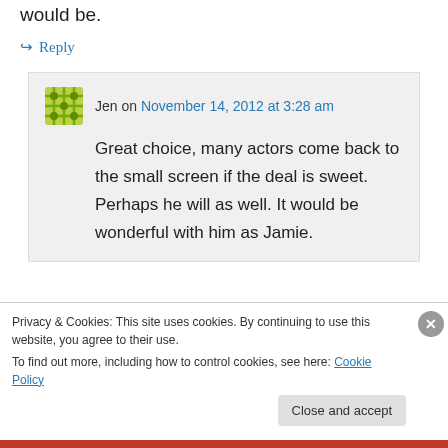would be.
↳ Reply
Jen on November 14, 2012 at 3:28 am
Great choice, many actors come back to the small screen if the deal is sweet. Perhaps he will as well. It would be wonderful with him as Jamie.
↳ Reply
Privacy & Cookies: This site uses cookies. By continuing to use this website, you agree to their use.
To find out more, including how to control cookies, see here: Cookie Policy
Close and accept